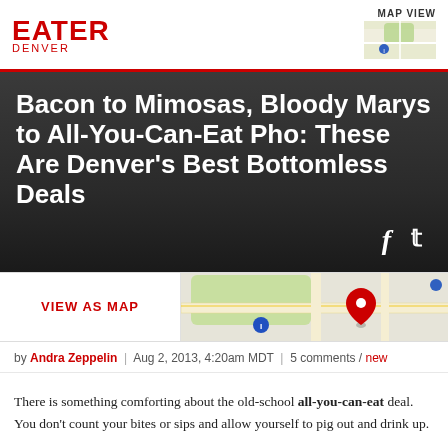EATER DENVER
Bacon to Mimosas, Bloody Marys to All-You-Can-Eat Pho: These Are Denver's Best Bottomless Deals
[Figure (map): Map view strip showing VIEW AS MAP link on left and a Google Maps preview with red location pin on right]
by Andra Zeppelin | Aug 2, 2013, 4:20am MDT | 5 comments / new
There is something comforting about the old-school all-you-can-eat deal. You don't count your bites or sips and allow yourself to pig out and drink up.